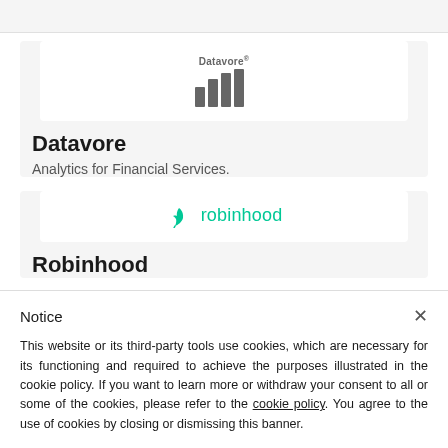[Figure (logo): Datavore logo with bar chart icon and wordmark]
Datavore
Analytics for Financial Services.
[Figure (logo): Robinhood logo with feather icon and wordmark in teal/green]
Robinhood
Notice
This website or its third-party tools use cookies, which are necessary for its functioning and required to achieve the purposes illustrated in the cookie policy. If you want to learn more or withdraw your consent to all or some of the cookies, please refer to the cookie policy. You agree to the use of cookies by closing or dismissing this banner.